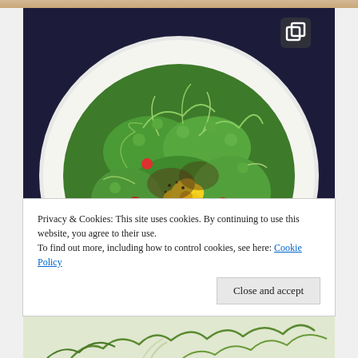[Figure (photo): A white plate filled with a large fresh green salad featuring watercress, microgreens, red cherry tomatoes, and a decorative yellow edible flower in the center, photographed from above on a restaurant table.]
Privacy & Cookies: This site uses cookies. By continuing to use this website, you agree to their use.
To find out more, including how to control cookies, see here: Cookie Policy
Close and accept
[Figure (photo): Partial view of another food photo at the bottom of the page, showing what appears to be green herbs or garnish.]